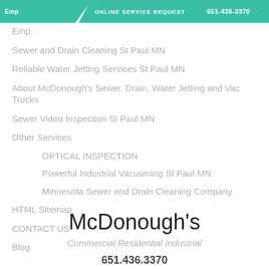ONLINE SERVICE REQUEST | 651-436-3370
Emp...
Sewer and Drain Cleaning St Paul MN
Reliable Water Jetting Services St Paul MN
About McDonough's Sewer, Drain, Water Jetting and Vac Trucks
Sewer Video Inspection St Paul MN
Other Services
OPTICAL INSPECTION
Powerful Industrial Vacuuming St Paul MN
Minnesota Sewer and Drain Cleaning Company
HTML Sitemap
CONTACT US
Blog
McDonough's
Commercial Residential Industrial
651.436.3370